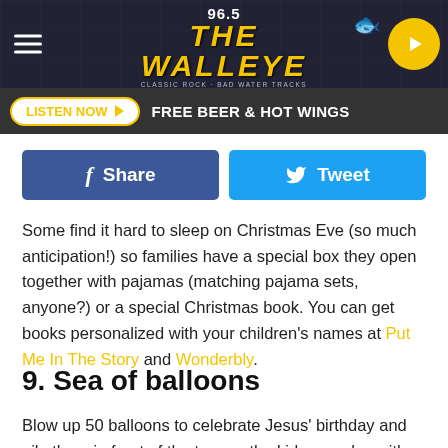[Figure (logo): 96.5 The Walleye radio station header with hamburger menu, logo, and play button on dark background]
LISTEN NOW ▶   FREE BEER & HOT WINGS
[Figure (infographic): Facebook Share button (blue) and Twitter Tweet button (light blue) side by side]
Some find it hard to sleep on Christmas Eve (so much anticipation!) so families have a special box they open together with pajamas (matching pajama sets, anyone?) or a special Christmas book. You can get books personalized with your children's names at Put Me In The Story and Wonderbly.
9. Sea of balloons
Blow up 50 balloons to celebrate Jesus' birthday and pile them in front of the tree so the kids can play with them